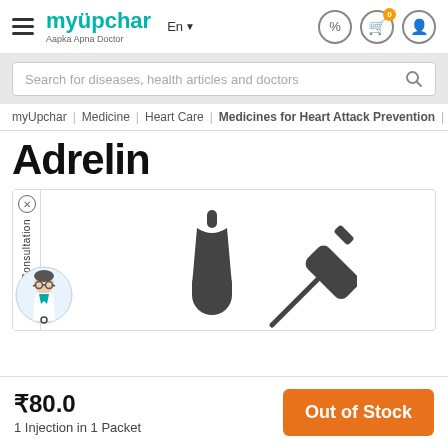myUpchar — Aapka Apna Doctor
Search for diseases, health articles and doctors
myUpchar | Medicine | Heart Care | Medicines for Heart Attack Prevention | Ad
Adrelin
[Figure (illustration): Product image area showing Adrelin medicine with injection icons/silhouettes (ampoule and syringe), with a consultation side tab featuring a doctor avatar.]
₹80.0
1 Injection in 1 Packet
Out of Stock